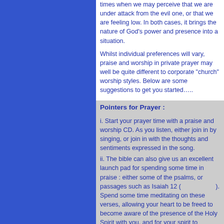times when we may perceive that we are under attack from the evil one, or that we are feeling low. In both cases, it brings the nature of God's power and presence into a situation.
Whilst individual preferences will vary, praise and worship in private prayer may well be quite different to corporate "church" worship styles. Below are some suggestions to get you started…..
Pointers for Prayer :
i. Start your prayer time with a praise and worship CD. As you listen, either join in by singing, or join in with the thoughts and sentiments expressed in the song.
ii. The bible can also give us an excellent launch pad for spending some time in praise : either some of the psalms, or passages such as Isaiah 12 (                    ). Spend some time meditating on these verses, allowing your heart to be freed to become aware of the presence of the Holy Spirit with you, and for your spirit to become in tune with God's